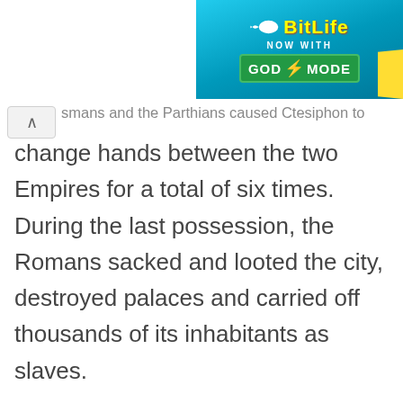[Figure (screenshot): BitLife mobile game advertisement banner showing 'BitLife NOW WITH GOD MODE' with yellow text on blue background and a sperm cell logo]
smans and the Parthians caused Ctesiphon to change hands between the two Empires for a total of six times. During the last possession, the Romans sacked and looted the city, destroyed palaces and carried off thousands of its inhabitants as slaves.